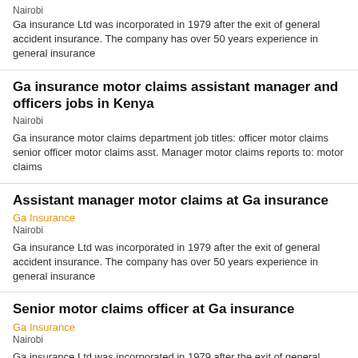Ga insurance Ltd was incorporated in 1979 after the exit of general accident insurance. The company has over 50 years experience in general insurance
Ga insurance motor claims assistant manager and officers jobs in Kenya
Nairobi
Ga insurance motor claims department job titles: officer motor claims senior officer motor claims asst. Manager motor claims reports to: motor claims
Assistant manager motor claims at Ga insurance
Ga Insurance
Nairobi
Ga insurance Ltd was incorporated in 1979 after the exit of general accident insurance. The company has over 50 years experience in general insurance
Senior motor claims officer at Ga insurance
Ga Insurance
Nairobi
Ga insurance Ltd was incorporated in 1979 after the exit of general accident insurance. The company has over 50 years experience in general insurance